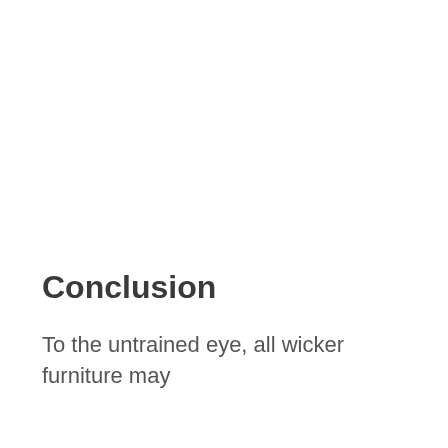Conclusion
To the untrained eye, all wicker furniture may